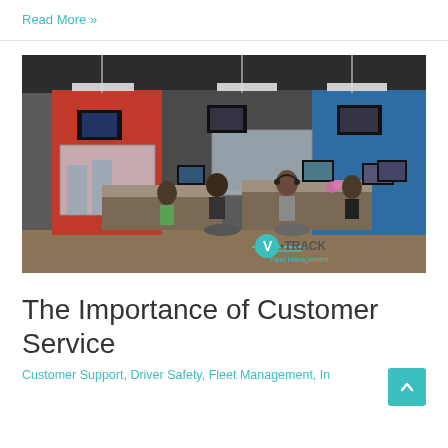Read More »
[Figure (photo): Call center office with multiple rows of workstations, employees wearing headsets working at computers, colorful accent walls in orange and blue, industrial ceiling with exposed ductwork and pendant lights. V-TRACK Fleet Management watermark visible in bottom right.]
The Importance of Customer Service
Customer Support, Driver Safety, Fleet Management, In